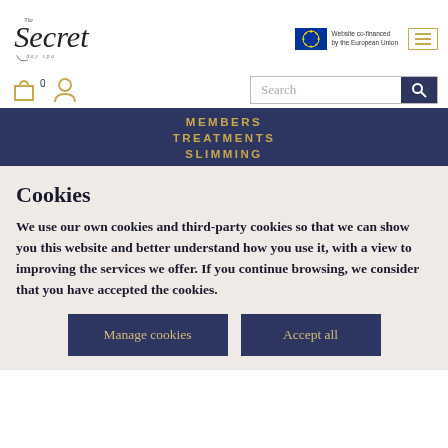[Figure (logo): The Secret Day Spa cursive logo]
[Figure (logo): EU flag with text: Website co-financed by the European Union]
[Figure (screenshot): Website navigation bar with MEMBERS, TREATMENTS, SLIMMING menu items in gold on dark navy background]
Cookies
We use our own cookies and third-party cookies so that we can show you this website and better understand how you use it, with a view to improving the services we offer. If you continue browsing, we consider that you have accepted the cookies.
Manage cookies
Accept all